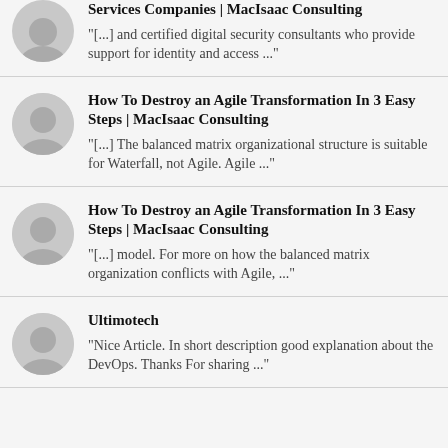Services Companies | MacIsaac Consulting
"[...] and certified digital security consultants who provide support for identity and access ..."
How To Destroy an Agile Transformation In 3 Easy Steps | MacIsaac Consulting
"[...] The balanced matrix organizational structure is suitable for Waterfall, not Agile.  Agile ..."
How To Destroy an Agile Transformation In 3 Easy Steps | MacIsaac Consulting
"[...] model. For more on how the balanced matrix organization conflicts with Agile, ..."
Ultimotech
"Nice Article. In short description good explanation about the DevOps. Thanks For sharing ..."